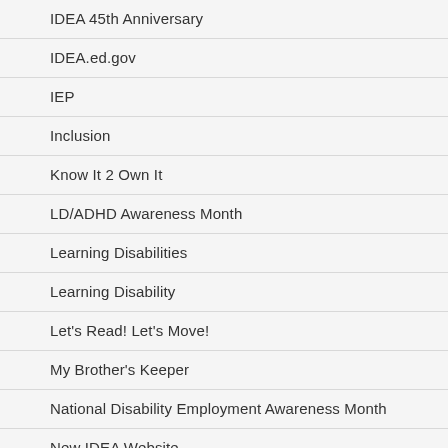IDEA 45th Anniversary
IDEA.ed.gov
IEP
Inclusion
Know It 2 Own It
LD/ADHD Awareness Month
Learning Disabilities
Learning Disability
Let's Read! Let's Move!
My Brother's Keeper
National Disability Employment Awareness Month
New IDEA Website
Notice of Proposed Rule Making